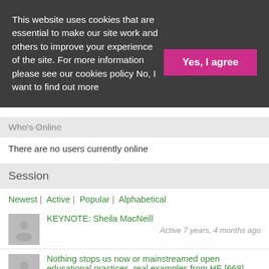This website uses cookies that are essential to make our site work and others to improve your experience of the site. For more information please see our cookies policy No, I want to find out more
Yes, I agree
Who's Online
There are no users currently online
Session
Newest | Active | Popular | Alphabetical
KEYNOTE: Sheila MacNeill
Active 7 years, 4 months ago
Nothing stops us now or mainstreamed open educational practices, real examples from HE [668]
Active 7 years, 4 months ago